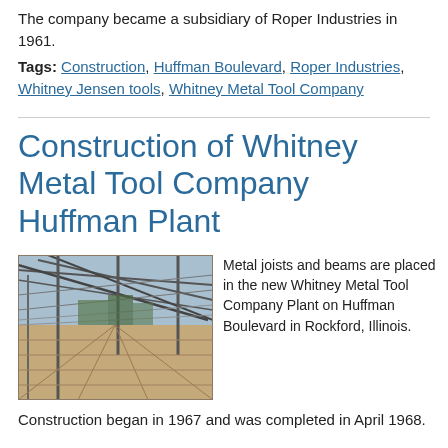The company became a subsidiary of Roper Industries in 1961.
Tags: Construction, Huffman Boulevard, Roper Industries, Whitney Jensen tools, Whitney Metal Tool Company
Construction of Whitney Metal Tool Company Huffman Plant
[Figure (photo): Construction photo showing metal joists and beams being placed in the new Whitney Metal Tool Company Plant on Huffman Boulevard in Rockford, Illinois.]
Metal joists and beams are placed in the new Whitney Metal Tool Company Plant on Huffman Boulevard in Rockford, Illinois. Construction began in 1967 and was completed in April 1968.